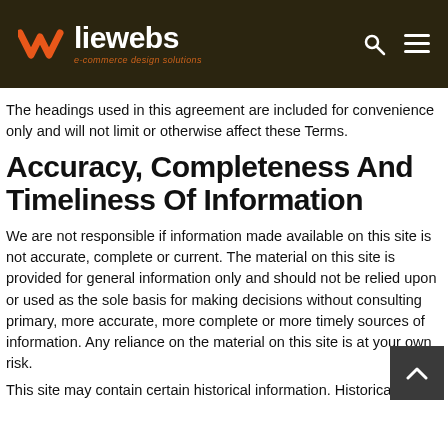liewebs | e-commerce design solutions
The headings used in this agreement are included for convenience only and will not limit or otherwise affect these Terms.
Accuracy, Completeness And Timeliness Of Information
We are not responsible if information made available on this site is not accurate, complete or current. The material on this site is provided for general information only and should not be relied upon or used as the sole basis for making decisions without consulting primary, more accurate, more complete or more timely sources of information. Any reliance on the material on this site is at your own risk.
This site may contain certain historical information. Historical